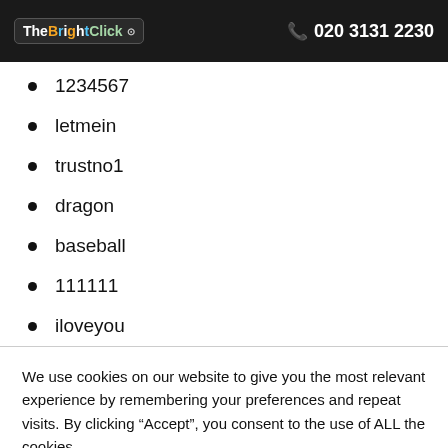TheBrightClick  020 3131 2230
1234567
letmein
trustno1
dragon
baseball
111111
iloveyou
We use cookies on our website to give you the most relevant experience by remembering your preferences and repeat visits. By clicking “Accept”, you consent to the use of ALL the cookies.
Cookie settings  ACCEPT